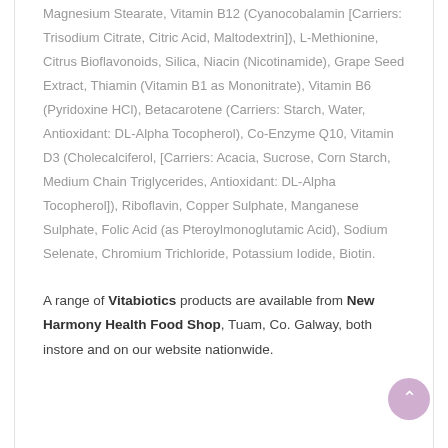Magnesium Stearate, Vitamin B12 (Cyanocobalamin [Carriers: Trisodium Citrate, Citric Acid, Maltodextrin]), L-Methionine, Citrus Bioflavonoids, Silica, Niacin (Nicotinamide), Grape Seed Extract, Thiamin (Vitamin B1 as Mononitrate), Vitamin B6 (Pyridoxine HCl), Betacarotene (Carriers: Starch, Water, Antioxidant: DL-Alpha Tocopherol), Co-Enzyme Q10, Vitamin D3 (Cholecalciferol, [Carriers: Acacia, Sucrose, Corn Starch, Medium Chain Triglycerides, Antioxidant: DL-Alpha Tocopherol]), Riboflavin, Copper Sulphate, Manganese Sulphate, Folic Acid (as Pteroylmonoglutamic Acid), Sodium Selenate, Chromium Trichloride, Potassium Iodide, Biotin.
A range of Vitabiotics products are available from New Harmony Health Food Shop, Tuam, Co. Galway, both instore and on our website nationwide.